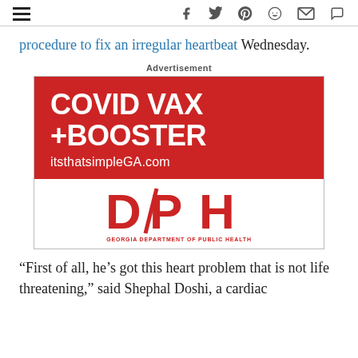Navigation and social sharing icons (hamburger menu, facebook, twitter, pinterest, reddit, email, comment)
procedure to fix an irregular heartbeat Wednesday.
[Figure (infographic): Advertisement banner for Georgia Department of Public Health COVID VAX + BOOSTER campaign. Red background with white text reading 'COVID VAX + BOOSTER itsthatsimpleGA.com', below is white section with DPH logo (red letters) and text 'GEORGIA DEPARTMENT OF PUBLIC HEALTH']
“First of all, he’s got this heart problem that is not life threatening,” said Shephal Doshi, a cardiac